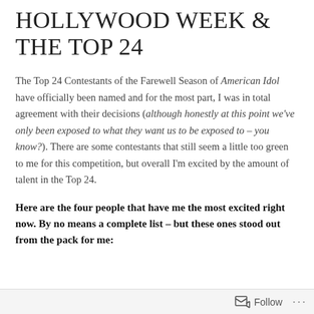HOLLYWOOD WEEK & THE TOP 24
The Top 24 Contestants of the Farewell Season of American Idol have officially been named and for the most part, I was in total agreement with their decisions (although honestly at this point we've only been exposed to what they want us to be exposed to – you know?). There are some contestants that still seem a little too green to me for this competition, but overall I'm excited by the amount of talent in the Top 24.
Here are the four people that have me the most excited right now. By no means a complete list – but these ones stood out from the pack for me:
Follow